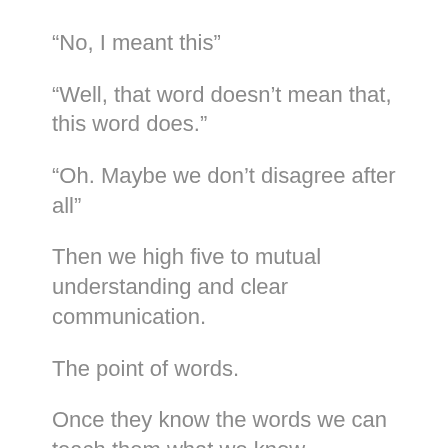“No, I meant this”
“Well, that word doesn’t mean that, this word does.”
“Oh. Maybe we don’t disagree after all”
Then we high five to mutual understanding and clear communication.
The point of words.
Once they know the words we can teach them what we know.
That knowledge is creative power.
And that’s the next post!